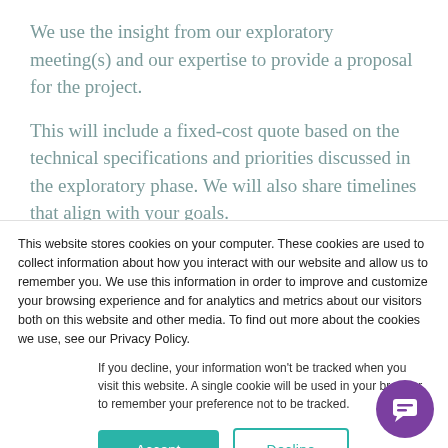We use the insight from our exploratory meeting(s) and our expertise to provide a proposal for the project.
This will include a fixed-cost quote based on the technical specifications and priorities discussed in the exploratory phase. We will also share timelines that align with your goals.
This website stores cookies on your computer. These cookies are used to collect information about how you interact with our website and allow us to remember you. We use this information in order to improve and customize your browsing experience and for analytics and metrics about our visitors both on this website and other media. To find out more about the cookies we use, see our Privacy Policy.
If you decline, your information won't be tracked when you visit this website. A single cookie will be used in your browser to remember your preference not to be tracked.